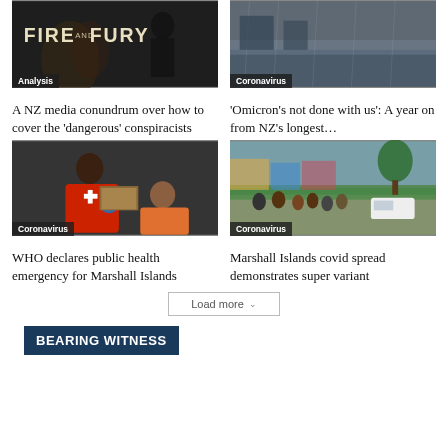[Figure (photo): Fire and Fury book cover/movie still with dark background and bold title text]
Analysis
A NZ media conundrum over how to cover the 'dangerous' conspiracists
[Figure (photo): Wet rainy street scene for Omicron story]
Coronavirus
'Omicron's not done with us': A year on from NZ's longest...
[Figure (photo): Red Cross worker vaccinating an elderly woman in a clinic setting]
Coronavirus
WHO declares public health emergency for Marshall Islands
[Figure (photo): Crowd of people lining up on a street in Marshall Islands]
Coronavirus
Marshall Islands covid spread demonstrates super variant
Load more
BEARING WITNESS